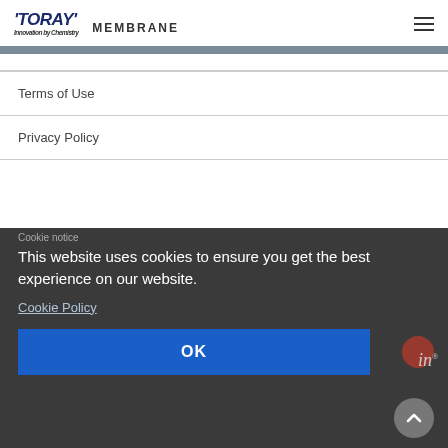[Figure (logo): Toray Membrane logo with 'Innovation by Chemistry' tagline and hamburger menu icon]
Terms of Use
Privacy Policy
This website uses cookies to ensure you get the best experience on our website.
Cookie Policy
OK